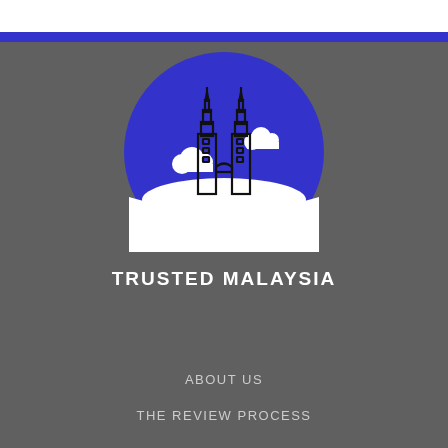[Figure (logo): Trusted Malaysia logo: a circular badge with blue background showing an illustration of the Petronas Twin Towers with white clouds, and a white ground area at the bottom of the circle.]
TRUSTED MALAYSIA
ABOUT US
THE REVIEW PROCESS